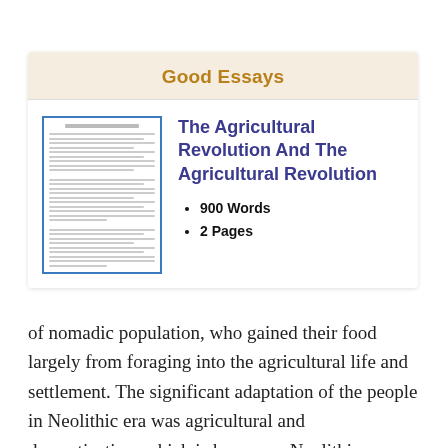Good Essays
[Figure (illustration): Thumbnail preview of an essay document page with small text lines]
The Agricultural Revolution And The Agricultural Revolution
900 Words
2 Pages
of nomadic population, who gained their food largely from foraging into the agricultural life and settlement. The significant adaptation of the people in Neolithic era was agricultural and domestication, which is known as Neolithic